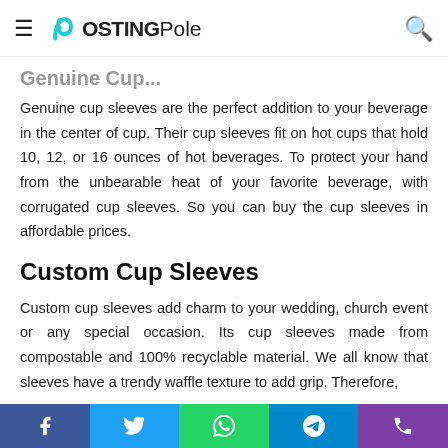PostingPole
Genuine Cup...
Genuine cup sleeves are the perfect addition to your beverage in the center of cup. Their cup sleeves fit on hot cups that hold 10, 12, or 16 ounces of hot beverages. To protect your hand from the unbearable heat of your favorite beverage, with corrugated cup sleeves. So you can buy the cup sleeves in affordable prices.
Custom Cup Sleeves
Custom cup sleeves add charm to your wedding, church event or any special occasion. Its cup sleeves made from compostable and 100% recyclable material. We all know that sleeves have a trendy waffle texture to add grip. Therefore,
Facebook Twitter WhatsApp Telegram Phone